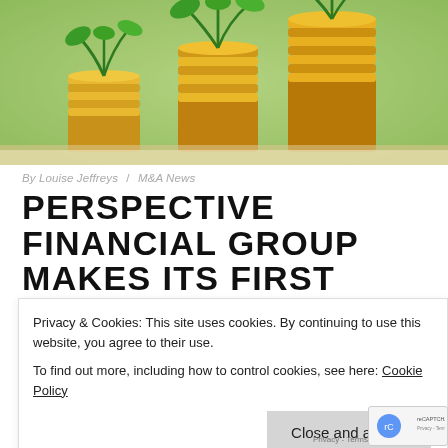[Figure (photo): Three stacks of gold coins in ascending height with green plant seedlings growing from the top of each stack, against a blurred green background.]
By Louise Jeffreys / M&A News
PERSPECTIVE FINANCIAL GROUP MAKES ITS FIRST
Privacy & Cookies: This site uses cookies. By continuing to use this website, you agree to their use.
To find out more, including how to control cookies, see here: Cookie Policy
Close and accept
Galloway Whitfield (Life & Pensions) Ltd was established in 1983 and run by Managing Director, Alan Galloway.  The firm will become part of Perspective's Newcastle upon Tyne-based